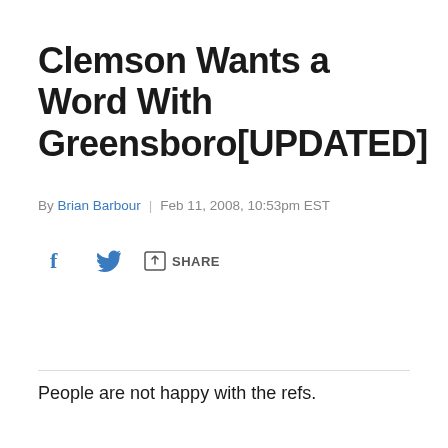Clemson Wants a Word With Greensboro[UPDATED]
By Brian Barbour | Feb 11, 2008, 10:53pm EST
[Figure (infographic): Social sharing icons: Facebook (f), Twitter (bird), and a share button with arrow icon labeled SHARE]
People are not happy with the refs.